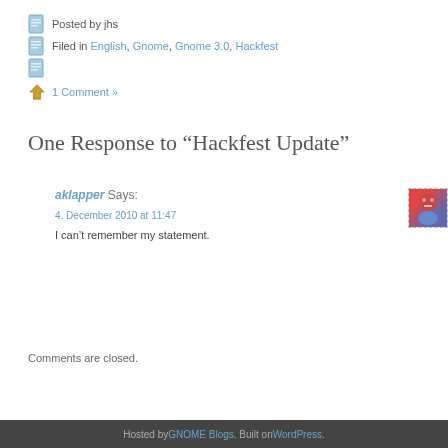Posted by jhs
Filed in English, Gnome, Gnome 3.0, Hackfest
1 Comment »
One Response to “Hackfest Update”
aklapper Says:
4. December 2010 at 11:47
I can't remember my statement.
Comments are closed.
Hosted by GNOME Blogs. Built on WordPress.